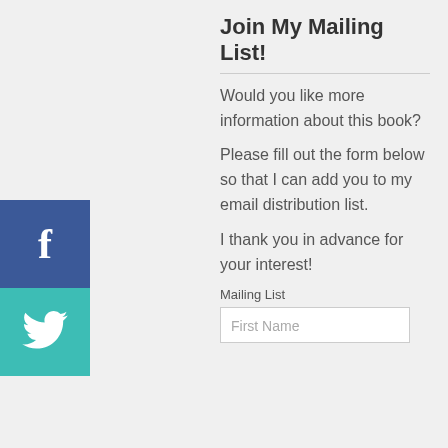Join My Mailing List!
Would you like more information about this book?
Please fill out the form below so that I can add you to my email distribution list.
I thank you in advance for your interest!
[Figure (infographic): Facebook and Twitter social share buttons on left sidebar]
Mailing List
First Name